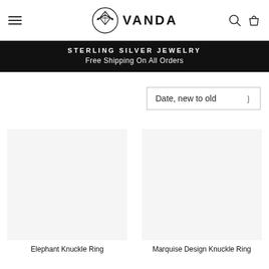VANDA — Sterling Silver Jewelry
STERLING SILVER JEWELRY
Free Shipping On All Orders
Date, new to old
Elephant Knuckle Ring
Marquise Design Knuckle Ring